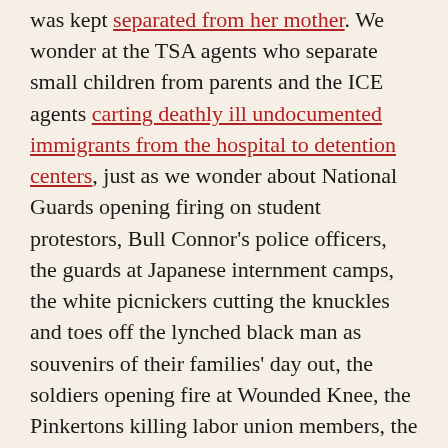was kept separated from her mother. We wonder at the TSA agents who separate small children from parents and the ICE agents carting deathly ill undocumented immigrants from the hospital to detention centers, just as we wonder about National Guards opening firing on student protestors, Bull Connor's police officers, the guards at Japanese internment camps, the white picnickers cutting the knuckles and toes off the lynched black man as souvenirs of their families' day out, the soldiers opening fire at Wounded Knee, the Pinkertons killing labor union members, the auctioneer facilitating to end of a slave family. We didn't need the Milgram experiment; history has shown us–and we've captured it in photos–that it is frighteningly easy to follow orders that inflict pain on others when you believe authorities command (or even simply permit) you do to so , whether those orders excite already-held prejudices or not. Yet, here we are, making laws to protect drivers who hit protestors and inviting transphobic collaborators to